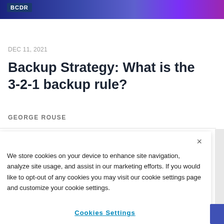BCDR
DEC 11, 2021
Backup Strategy: What is the 3-2-1 backup rule?
GEORGE ROUSE
We store cookies on your device to enhance site navigation, analyze site usage, and assist in our marketing efforts. If you would like to opt-out of any cookies you may visit our cookie settings page and customize your cookie settings.
Cookies Settings